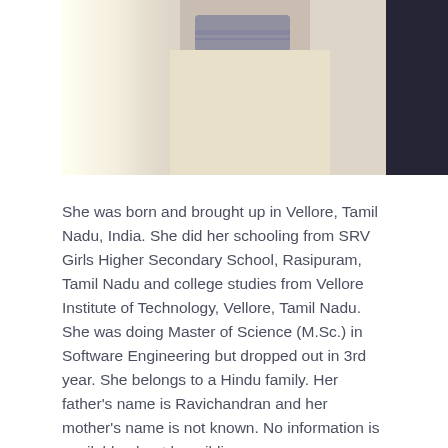[Figure (photo): Partial photo of a person wearing a light-colored saree/outfit, cropped at torso level, with bright light on the left side and dark background on the right]
She was born and brought up in Vellore, Tamil Nadu, India. She did her schooling from SRV Girls Higher Secondary School, Rasipuram, Tamil Nadu and college studies from Vellore Institute of Technology, Vellore, Tamil Nadu. She was doing Master of Science (M.Sc.) in Software Engineering but dropped out in 3rd year. She belongs to a Hindu family. Her father's name is Ravichandran and her mother's name is not known. No information is available about her siblings.